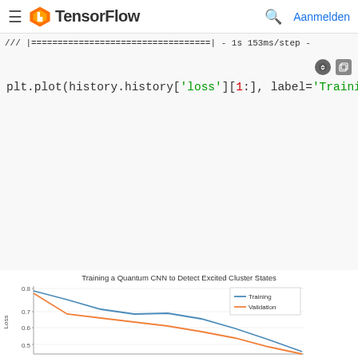TensorFlow — Aanmelden
/// |==================================| - 1s 153ms/step -
plt.plot(history.history['loss'][1:], label='Training'
plt.plot(history.history['val_loss'][1:], label='Valid...
plt.title('Training a Quantum CNN to Detect Excited Cl...
plt.xlabel('Epochs')
plt.ylabel('Loss')
plt.legend()
plt.show()
[Figure (line-chart): Training a Quantum CNN to Detect Excited Cluster States]